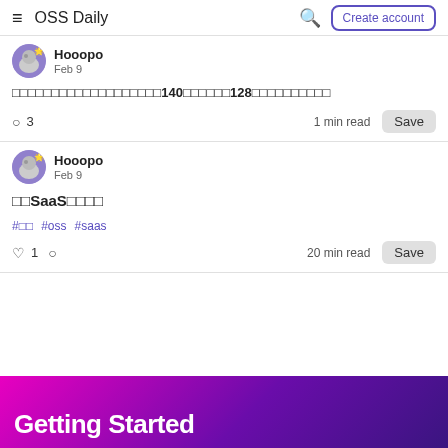OSS Daily
Hooopo
Feb 9
□□□□□□□□□□□□□□□□□□□140□□□□□□128□□□□□□□□□□
3  1 min read  Save
Hooopo
Feb 9
□□SaaS□□□□
#□□  #oss  #saas
1  20 min read  Save
Getting Started